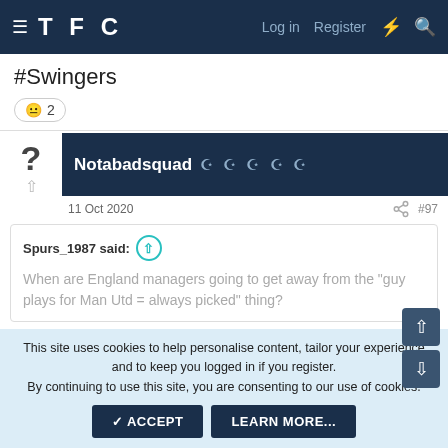TFC — Log in  Register
#Swingers
😐 2
Notabadsquad 🏆🏆🏆🏆🏆
11 Oct 2020  #97
Spurs_1987 said: ↑ When are England managers going to get away from the "guy plays for Man Utd = always picked" thing?
This site uses cookies to help personalise content, tailor your experience and to keep you logged in if you register.
By continuing to use this site, you are consenting to our use of cookies.